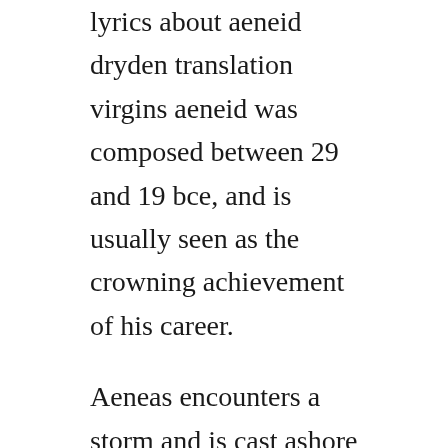lyrics about aeneid dryden translation virgins aeneid was composed between 29 and 19 bce, and is usually seen as the crowning achievement of his career.
Aeneas encounters a storm and is cast ashore at carthage. Book i 11 book ii 36 book iii 62 book iv 82 book v 110 book vi 2 book vii 157 book viii 181 book ix 203. How did the poem exist between when virgil composed it. Book iii when heavn had overturnd the trojan state and priams throne, by too severe a fate. Aug 22, 2014 i have carefully crafted and constantly reedited this translation to closely